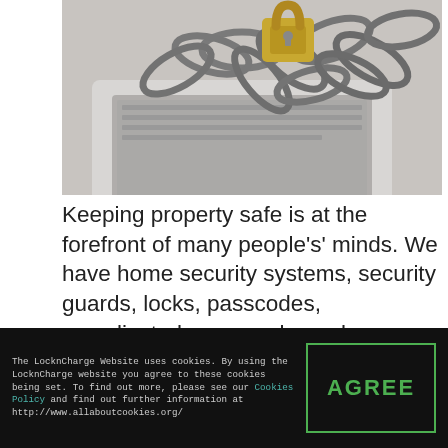[Figure (photo): A laptop computer wrapped in metal chains with a padlock on top, photographed on a light gray surface. The image conveys physical security of digital devices.]
Keeping property safe is at the forefront of many people’s’ minds. We have home security systems, security guards, locks, passcodes, complicated passwords, and so many other ways to keep our valuables secure.
The LocknCharge Website uses cookies. By using the LocknCharge website you agree to these cookies being set. To find out more, please see our Cookies Policy and find out further information at http://www.allaboutcookies.org/